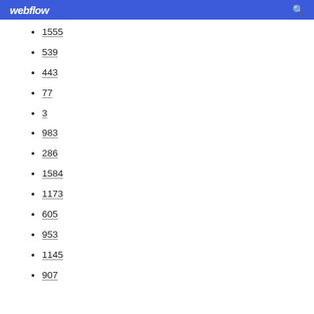webflow
1555
539
443
77
3
983
286
1584
1173
605
953
1145
907